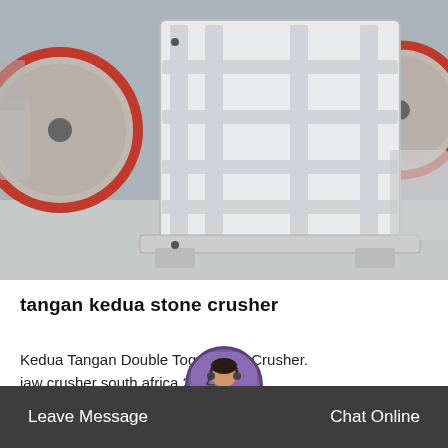[Figure (photo): Photo of a white double toggle jaw crusher machine in an industrial warehouse setting, with large red and white flywheels visible on the sides]
tangan kedua stone crusher
Kedua Tangan Double Toggle Jaw Crusher. jaw crusher south africa 2 tangan middelaartentverhuur.nl. jaw crusher south…
Release Time ⊠ Oct_11
Leave Message  Chat Online